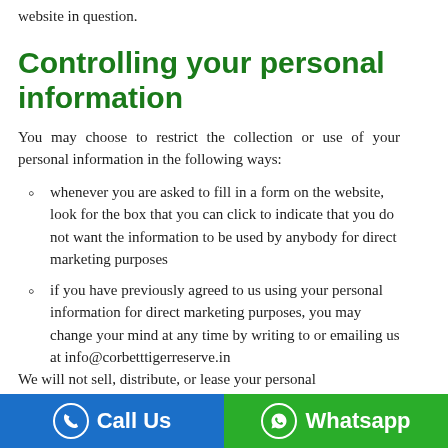website in question.
Controlling your personal information
You may choose to restrict the collection or use of your personal information in the following ways:
whenever you are asked to fill in a form on the website, look for the box that you can click to indicate that you do not want the information to be used by anybody for direct marketing purposes
if you have previously agreed to us using your personal information for direct marketing purposes, you may change your mind at any time by writing to or emailing us at info@corbetttigerreserve.in
We will not sell, distribute, or lease your personal
Call Us   Whatsapp